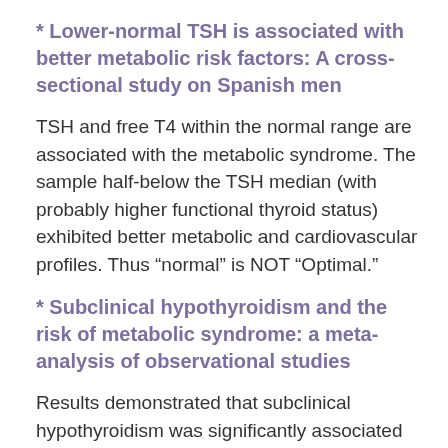* Lower-normal TSH is associated with better metabolic risk factors: A cross-sectional study on Spanish men
TSH and free T4 within the normal range are associated with the metabolic syndrome. The sample half-below the TSH median (with probably higher functional thyroid status) exhibited better metabolic and cardiovascular profiles. Thus “normal” is NOT “Optimal.”
* Subclinical hypothyroidism and the risk of metabolic syndrome: a meta-analysis of observational studies
Results demonstrated that subclinical hypothyroidism was significantly associated